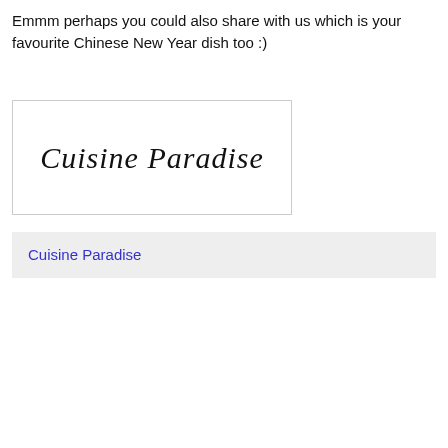Emmm perhaps you could also share with us which is your favourite Chinese New Year dish too :)
[Figure (logo): Cuisine Paradise logo in cursive/italic script font]
Cuisine Paradise